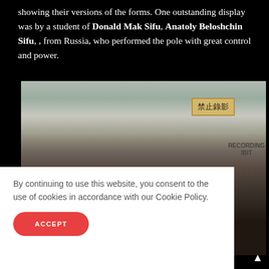showing their versions of the forms. One outstanding display was by a student of Donald Mak Sifu, Anatoly Beloshchin Sifu, , from Russia, who performed the pole with great control and power.
[Figure (photo): Photo of two people standing together indoors, a man in a black shirt smiling, and a partially visible second person. Background shows a room with windows, papers, and a sign in Chinese characters with an English note reading 'RECORDING IBIT'.]
By continuing to use this website, you consent to the use of cookies in accordance with our Cookie Policy.